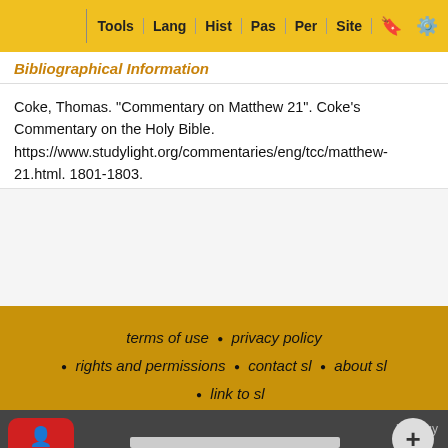Tools | Lang | Hist | Pas | Per | Site
Bibliographical Information
Coke, Thomas. "Commentary on Matthew 21". Coke's Commentary on the Holy Bible. https://www.studylight.org/commentaries/eng/tcc/matthew-21.html. 1801-1803.
terms of use • privacy policy • rights and permissions • contact sl • about sl • link to sl
To report dead links, typos, or html errors or suggestions about making these resources more useful use the convenient contact form
StudyL... ...hnology